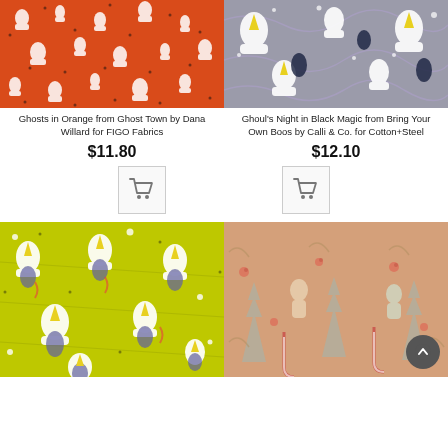[Figure (photo): Ghosts in Orange fabric pattern - white ghost shapes on orange/red background with black dots]
[Figure (photo): Ghoul's Night in Black Magic fabric pattern - white ghosts and penguins on gray background with stars]
Ghosts in Orange from Ghost Town by Dana Willard for FIGO Fabrics
Ghoul's Night in Black Magic from Bring Your Own Boos by Calli & Co. for Cotton+Steel
$11.80
$12.10
[Figure (illustration): Shopping cart icon button]
[Figure (illustration): Shopping cart icon button]
[Figure (photo): Yellow-green fabric pattern with ghosts and birds wearing party hats]
[Figure (photo): Peach/tan fabric pattern with Christmas trees, candy canes, and gingerbread figures]